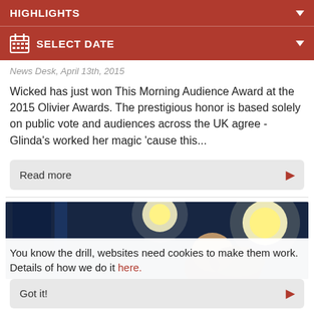HIGHLIGHTS
SELECT DATE
News Desk, April 13th, 2015
Wicked has just won This Morning Audience Award at the 2015 Olivier Awards. The prestigious honor is based solely on public vote and audiences across the UK agree - Glinda's worked her magic 'cause this...
Read more
[Figure (photo): Stage performance photo showing a performer looking upward, blue-lit theatrical backdrop with circular lights]
You know the drill, websites need cookies to make them work. Details of how we do it here.
Got it!